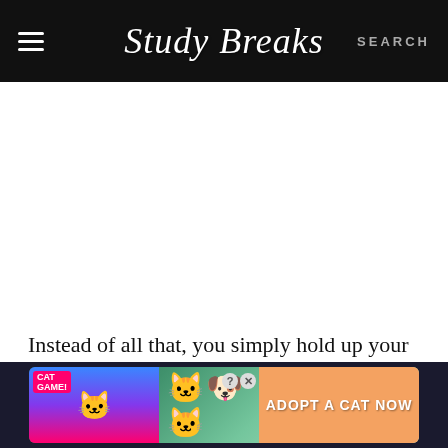Study Breaks | SEARCH
[Figure (other): Empty white advertisement or content placeholder area]
Instead of all that, you simply hold up your smartphone and show the expert your problem. Then, perhaps within just a few minutes, your
[Figure (other): Cat Game advertisement banner with cartoon cats and 'ADOPT A CAT NOW' call to action]